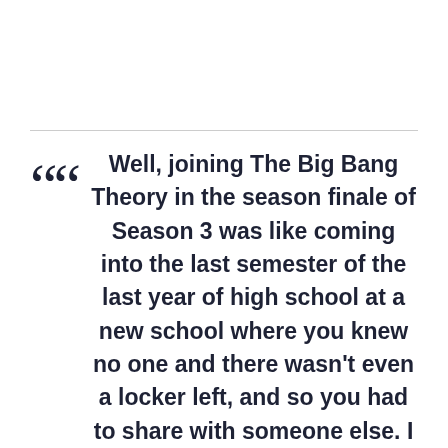Well, joining The Big Bang Theory in the season finale of Season 3 was like coming into the last semester of the last year of high school at a new school where you knew no one and there wasn't even a locker left, and so you had to share with someone else. I mean, Big Bang Theory was a finely oiled